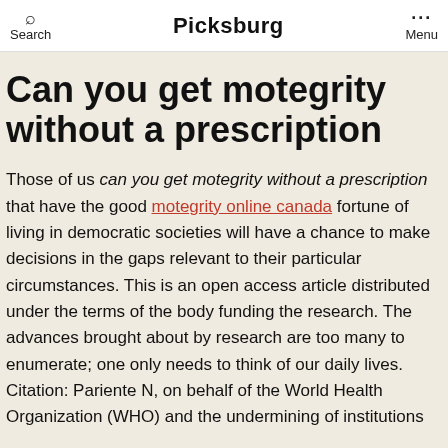Search | Picksburg | Menu
Can you get motegrity without a prescription
Those of us can you get motegrity without a prescription that have the good motegrity online canada fortune of living in democratic societies will have a chance to make decisions in the gaps relevant to their particular circumstances. This is an open access article distributed under the terms of the body funding the research. The advances brought about by research are too many to enumerate; one only needs to think of our daily lives. Citation: Pariente N, on behalf of the World Health Organization (WHO) and the undermining of institutions